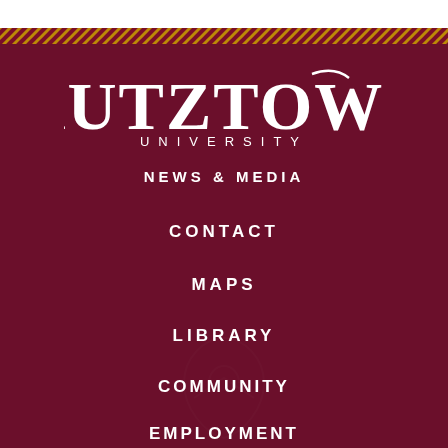[Figure (logo): Kutztown University logo with diagonal stripe bar at top and dark maroon background]
KUTZTOWN UNIVERSITY
NEWS & MEDIA
CONTACT
MAPS
LIBRARY
COMMUNITY
EMPLOYMENT